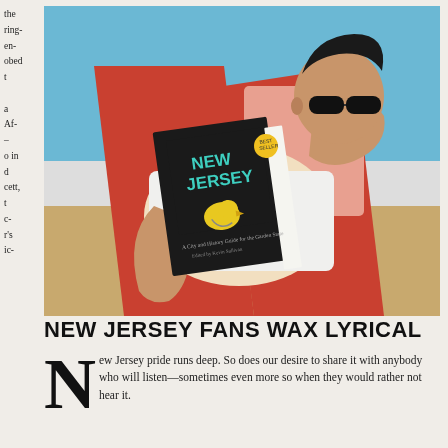the
ring-
en-
obed
t
a
Af-
–
o in
d
cett,
t
c-
r's
ic-
[Figure (illustration): Illustration of a man reclining in a beach chair, wearing sunglasses and a white t-shirt, holding and reading a book titled 'NEW JERSEY' with a yellow bird on the cover. Background shows blue sky and red/orange chair.]
NEW JERSEY FANS WAX LYRICAL
ew Jersey pride runs deep. So does our desire to share it with anybody who will listen—sometimes even more so when they would rather not hear it.